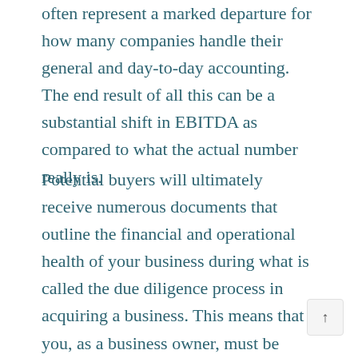often represent a marked departure for how many companies handle their general and day-to-day accounting. The end result of all this can be a substantial shift in EBITDA as compared to what the actual number really is.
Potential buyers will ultimately receive numerous documents that outline the financial and operational health of your business during what is called the due diligence process in acquiring a business. This means that you, as a business owner, must be ready to invest a good deal of time in the process of disclosing as much accurate information as you can, in support and defense of the true and accurate EBITDA of your business. In short, preparing your business to be...